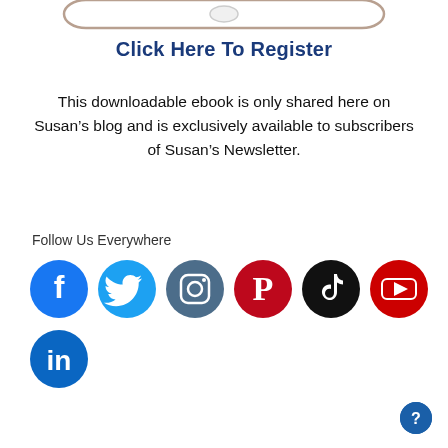[Figure (illustration): Top portion of a smartphone illustration showing the curved top bezel with a front camera button]
Click Here To Register
This downloadable ebook is only shared here on Susan’s blog and is exclusively available to subscribers of Susan’s Newsletter.
Follow Us Everywhere
[Figure (illustration): Social media icons row 1: Facebook, Twitter, Instagram, Pinterest, TikTok, YouTube]
[Figure (illustration): Social media icons row 2: LinkedIn]